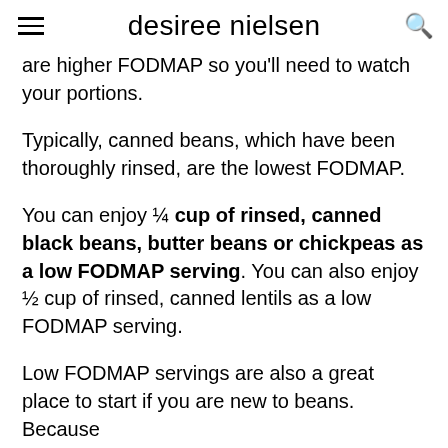desiree nielsen
are higher FODMAP so you'll need to watch your portions.
Typically, canned beans, which have been thoroughly rinsed, are the lowest FODMAP.
You can enjoy ¼ cup of rinsed, canned black beans, butter beans or chickpeas as a low FODMAP serving. You can also enjoy ½ cup of rinsed, canned lentils as a low FODMAP serving.
Low FODMAP servings are also a great place to start if you are new to beans. Because